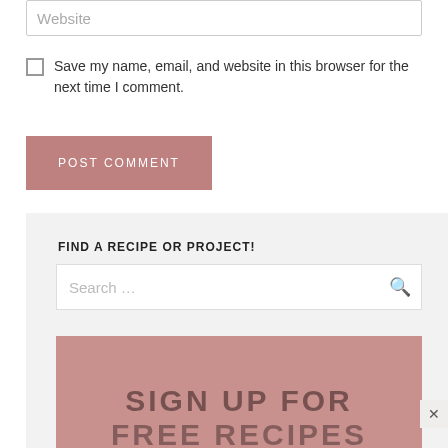Website
Save my name, email, and website in this browser for the next time I comment.
POST COMMENT
FIND A RECIPE OR PROJECT!
Search ...
[Figure (screenshot): Pink/rose-colored banner with large bold text reading SIGN UP FOR FREE RECIPES with a close (x) button]
SIGN UP FOR FREE RECIPES